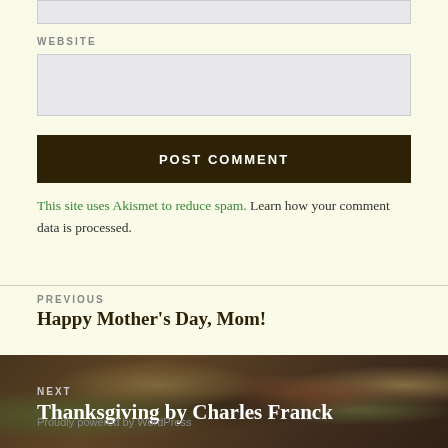[input field top]
WEBSITE
[website input field]
POST COMMENT
This site uses Akismet to reduce spam. Learn how your comment data is processed.
PREVIOUS
Happy Mother's Day, Mom!
NEXT
Thanksgiving by Charles Franck
Proudly powered by WordPress